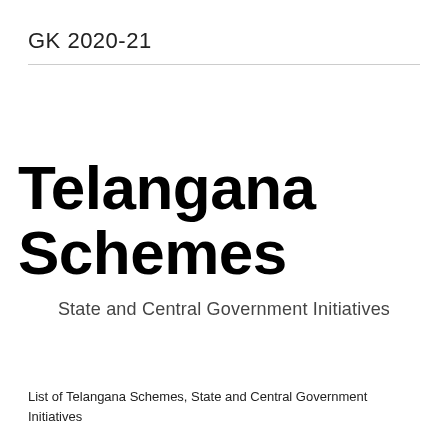GK 2020-21
Telangana Schemes
State and Central Government Initiatives
List of Telangana Schemes, State and Central Government Initiatives